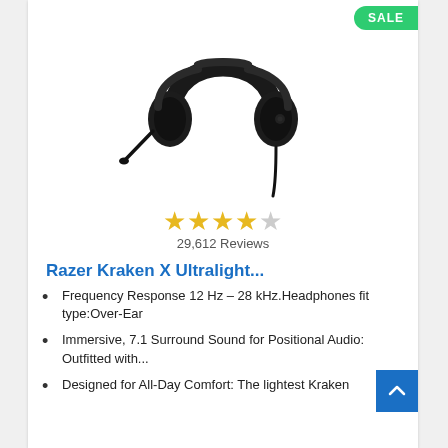[Figure (photo): Product photo of a black Razer Kraken X Ultralight gaming headset with over-ear cups and a flexible boom microphone, shown on a white background.]
SALE
★★★★☆ 29,612 Reviews
Razer Kraken X Ultralight...
Frequency Response 12 Hz – 28 kHz.Headphones fit type:Over-Ear
Immersive, 7.1 Surround Sound for Positional Audio: Outfitted with...
Designed for All-Day Comfort: The lightest Kraken